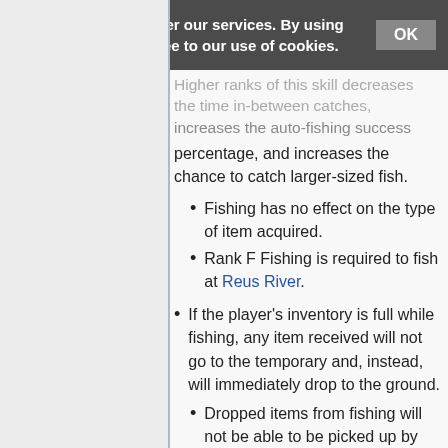Cookies help us deliver our services. By using our services, you agree to our use of cookies. OK
Higher ranks of this skill decreases the time in-between catches, increases the auto-fishing success percentage, and increases the chance to catch larger-sized fish.
Fishing has no effect on the type of item acquired.
Rank F Fishing is required to fish at Reus River.
If the player's inventory is full while fishing, any item received will not go to the temporary and, instead, will immediately drop to the ground.
Dropped items from fishing will not be able to be picked up by anyone except the person who fished them.
Dropped items from fishing will eventually disappear at a rate based on their resell value, with